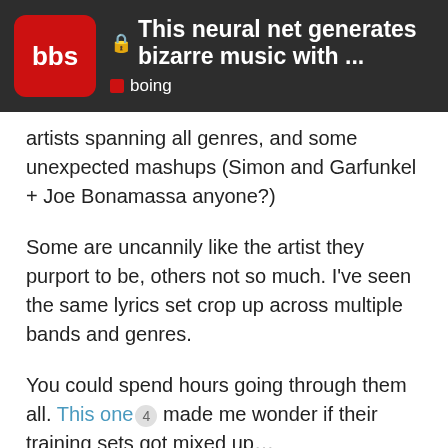This neural net generates bizarre music with ... | boing
artists spanning all genres, and some unexpected mashups (Simon and Garfunkel + Joe Bonamassa anyone?)
Some are uncannily like the artist they purport to be, others not so much. I've seen the same lyrics set crop up across multiple bands and genres.
You could spend hours going through them all. This one made me wonder if their training sets got mixed up...